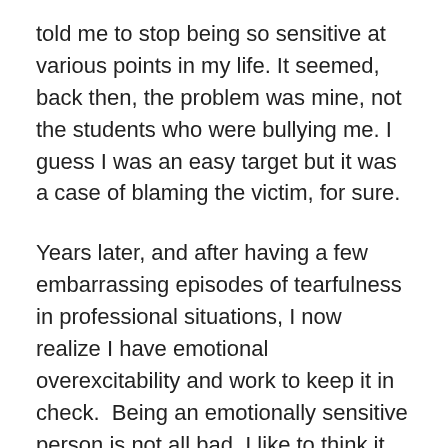told me to stop being so sensitive at various points in my life. It seemed, back then, the problem was mine, not the students who were bullying me. I guess I was an easy target but it was a case of blaming the victim, for sure.
Years later, and after having a few embarrassing episodes of tearfulness in professional situations, I now realize I have emotional overexcitability and work to keep it in check.  Being an emotionally sensitive person is not all bad. I like to think it makes me have a high degree of empathy for others and what they are going through. It also makes me a gentler teacher with my students. I admit, to this day, I have trouble telling someone they cannot leave a class to go to the bathroom – even if I do think it is a ruse!
Just because one might be a crybaby growing up, does